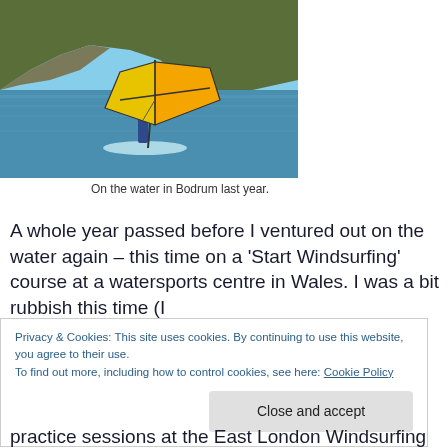[Figure (photo): A person windsurfing on calm blue water near a rocky hillside in Bodrum, with an orange and yellow sail.]
On the water in Bodrum last year.
A whole year passed before I ventured out on the water again – this time on a 'Start Windsurfing' course at a watersports centre in Wales. I was a bit rubbish this time (I
Privacy & Cookies: This site uses cookies. By continuing to use this website, you agree to their use.
To find out more, including how to control cookies, see here: Cookie Policy
practice sessions at the East London Windsurfing School.